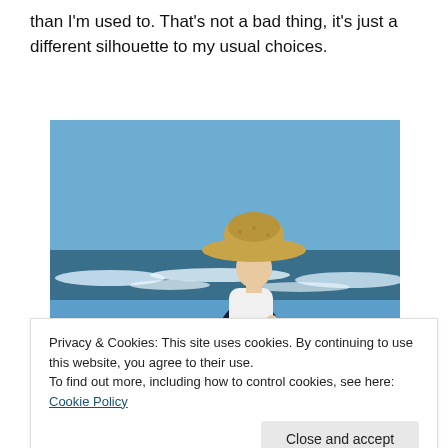than I'm used to. That's not a bad thing, it's just a different silhouette to my usual choices.
[Figure (photo): A woman wearing a wide-brimmed straw hat, white t-shirt, and dark navy full skirt stands on rocky seaside terrain, looking down while holding a blue leash. The ocean with waves and a bright blue sky are visible in the background.]
Privacy & Cookies: This site uses cookies. By continuing to use this website, you agree to their use.
To find out more, including how to control cookies, see here: Cookie Policy
[Close and accept]